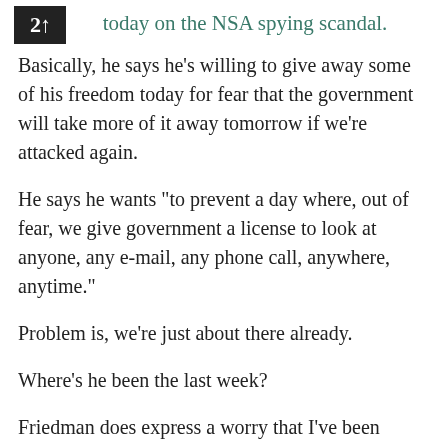today on the NSA spying scandal.
Basically, he says he's willing to give away some of his freedom today for fear that the government will take more of it away tomorrow if we're attacked again.
He says he wants "to prevent a day where, out of fear, we give government a license to look at anyone, any e-mail, any phone call, anywhere, anytime."
Problem is, we're just about there already.
Where's he been the last week?
Friedman does express a worry that I've been